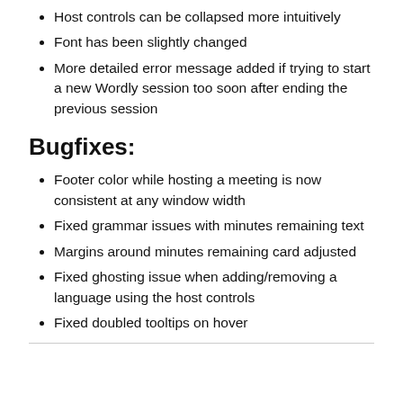Host controls can be collapsed more intuitively
Font has been slightly changed
More detailed error message added if trying to start a new Wordly session too soon after ending the previous session
Bugfixes:
Footer color while hosting a meeting is now consistent at any window width
Fixed grammar issues with minutes remaining text
Margins around minutes remaining card adjusted
Fixed ghosting issue when adding/removing a language using the host controls
Fixed doubled tooltips on hover